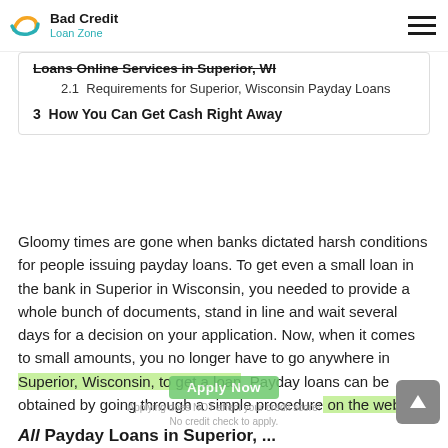Bad Credit Loan Zone
Loans Online Services in Superior, WI
2.1  Requirements for Superior, Wisconsin Payday Loans
3  How You Can Get Cash Right Away
Gloomy times are gone when banks dictated harsh conditions for people issuing payday loans. To get even a small loan in the bank in Superior in Wisconsin, you needed to provide a whole bunch of documents, stand in line and wait several days for a decision on your application. Now, when it comes to small amounts, you no longer have to go anywhere in Superior, Wisconsin, to get a loan. Payday loans can be obtained by going through a simple procedure on the website.
Applying does NOT affect your credit score!
No credit check to apply.